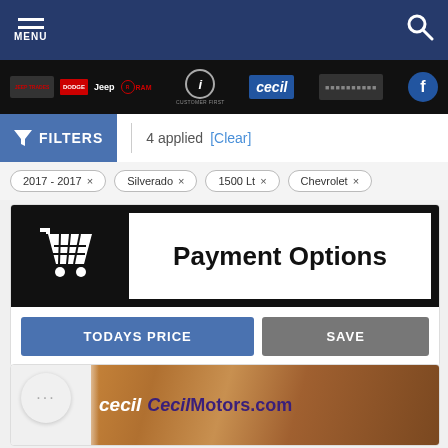MENU | Search
[Figure (screenshot): Brand logos bar: Jeep, RAM, Customer First, Cecil, phone number, Facebook button]
FILTERS | 4 applied [Clear]
2017 - 2017 ×
Silverado ×
1500 Lt ×
Chevrolet ×
[Figure (screenshot): Payment Options banner with shopping cart icon on black background]
TODAYS PRICE
SAVE
[Figure (photo): Cecil Motors wood sign photo with chat bubble overlay, text: cecil CecilMotors.com]